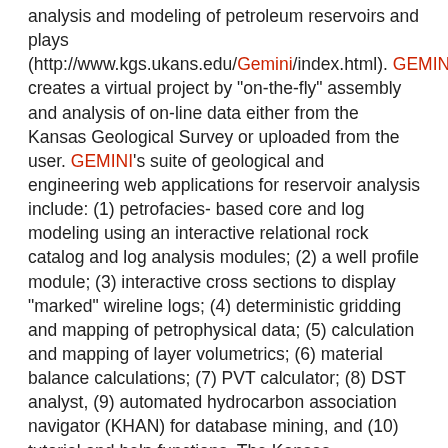analysis and modeling of petroleum reservoirs and plays (http://www.kgs.ukans.edu/Gemini/index.html). GEMINI creates a virtual project by "on-the-fly" assembly and analysis of on-line data either from the Kansas Geological Survey or uploaded from the user. GEMINI's suite of geological and engineering web applications for reservoir analysis include: (1) petrofacies-based core and log modeling using an interactive relational rock catalog and log analysis modules; (2) a well profile module; (3) interactive cross sections to display "marked" wireline logs; (4) deterministic gridding and mapping of petrophysical data; (5) calculation and mapping of layer volumetrics; (6) material balance calculations; (7) PVT calculator; (8) DST analyst, (9) automated hydrocarbon association navigator (KHAN) for database mining, and (10) tutorial and help functions. The Kansas Hydrocarbon Association Navigator (KHAN) utilizes petrophysical databases to estimate hydrocarbon pay or other constituent at a play- or field-scale. Databases analyzed and displayed include digital logs, core analysis and photos, DST, and production data. GEMINI accommodates distant collaborations using secure password protection and authorized access. Assembled data, analyses, charts, and maps can readily be moved to other applications. GEMINI's target